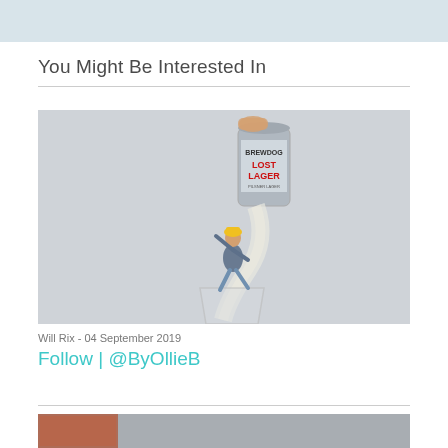You Might Be Interested In
[Figure (photo): Creative photo of a BrewDog Lost Lager beer can being poured, with a miniature person appearing to be swept up in the liquid stream, set against a grey background.]
Will Rix - 04 September 2019
Follow | @ByOllieB
[Figure (photo): Partial thumbnail image at the bottom of the page]